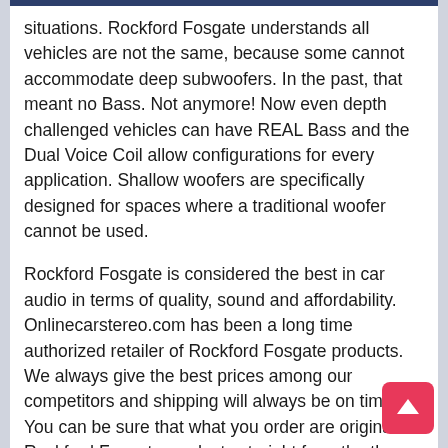situations. Rockford Fosgate understands all vehicles are not the same, because some cannot accommodate deep subwoofers. In the past, that meant no Bass. Not anymore! Now even depth challenged vehicles can have REAL Bass and the Dual Voice Coil allow configurations for every application. Shallow woofers are specifically designed for spaces where a traditional woofer cannot be used.
Rockford Fosgate is considered the best in car audio in terms of quality, sound and affordability. Onlinecarstereo.com has been a long time authorized retailer of Rockford Fosgate products. We always give the best prices among our competitors and shipping will always be on time. You can be sure that what you order are original Rockford Fosgate products straight from the the warehouse.